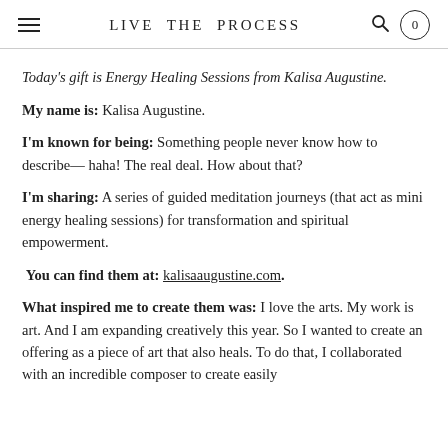LIVE THE PROCESS
Today's gift is Energy Healing Sessions from Kalisa Augustine.
My name is: Kalisa Augustine.
I'm known for being: Something people never know how to describe— haha! The real deal. How about that?
I'm sharing: A series of guided meditation journeys (that act as mini energy healing sessions) for transformation and spiritual empowerment.
You can find them at: kalisaaugustine.com.
What inspired me to create them was: I love the arts. My work is art. And I am expanding creatively this year. So I wanted to create an offering as a piece of art that also heals. To do that, I collaborated with an incredible composer to create easily